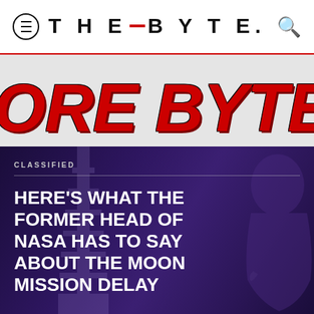THE BYTE.
MORE BYTES
CLASSIFIED
HERE'S WHAT THE FORMER HEAD OF NASA HAS TO SAY ABOUT THE MOON MISSION DELAY